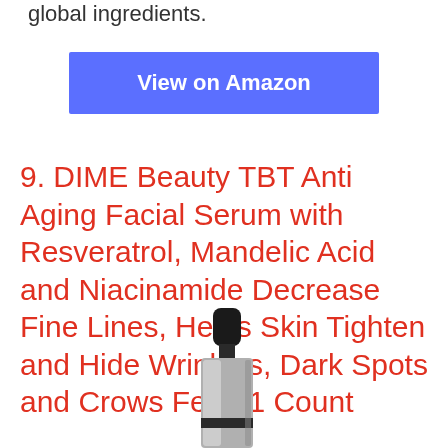global ingredients.
View on Amazon
9. DIME Beauty TBT Anti Aging Facial Serum with Resveratrol, Mandelic Acid and Niacinamide Decrease Fine Lines, Helps Skin Tighten and Hide Wrinkles, Dark Spots and Crows Feet, 1 Count
[Figure (photo): Bottom portion of a dropper bottle with black cap and silver/glass body on white background]